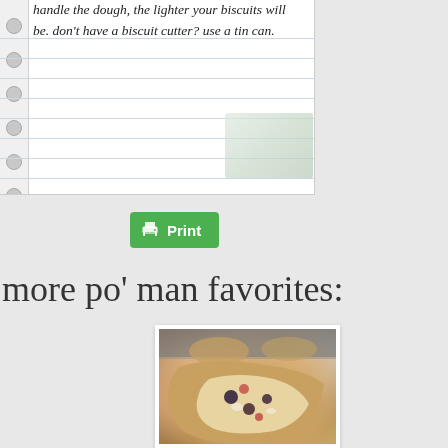handle the dough, the lighter your biscuits will be.  don't have a biscuit cutter? use a tin can.
[Figure (screenshot): Green Print button with printer icon on a notebook/lined paper background area]
more po' man favorites:
[Figure (photo): Close-up photo of a baked good (muffin or biscuit) that has been broken open, showing a filling with dark berries and possibly other ingredients, with more baked goods visible in a pan in the background.]